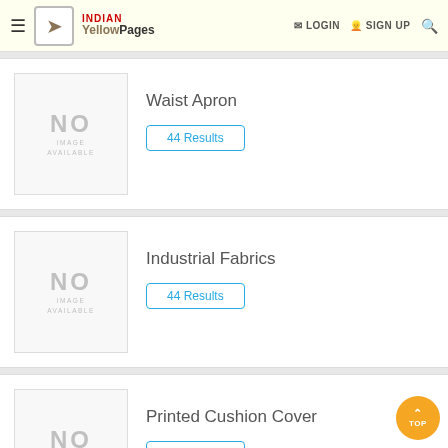INDIAN YellowPages — LOGIN  SIGN UP
[Figure (screenshot): No image available placeholder for Waist Apron listing]
Waist Apron
44 Results
[Figure (screenshot): No image available placeholder for Industrial Fabrics listing]
Industrial Fabrics
44 Results
[Figure (screenshot): No image available placeholder for Printed Cushion Cover listing]
Printed Cushion Cover
42 Results